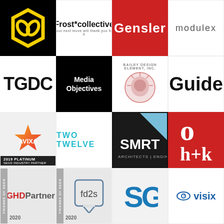[Figure (logo): Honeycomb/chain link logo on black background]
[Figure (logo): Frost*collective logo]
[Figure (logo): Gensler logo on red background]
[Figure (logo): modulex logo]
[Figure (logo): TGDC logo]
[Figure (logo): Media Objectives logo on black background]
[Figure (logo): Bailey Design Element Inc circular logo]
[Figure (logo): Guide logo with teal arrow]
[Figure (logo): AVIXA 2019 Platinum SEGD Industry Partner logo]
[Figure (logo): TWO TWELVE logo in teal]
[Figure (logo): SMRT Architects Engineers logo on dark background]
[Figure (logo): oh+k logo on red background]
[Figure (logo): GHD Partners Friends of SEGD 2020]
[Figure (logo): fd2s Friends of SEGD 2020]
[Figure (logo): SGA logo]
[Figure (logo): Visix logo with eye icon]